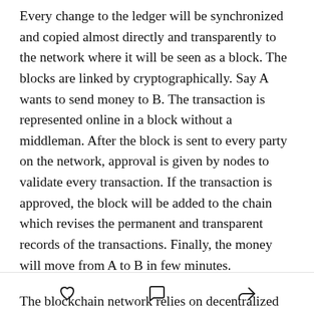Every change to the ledger will be synchronized and copied almost directly and transparently to the network where it will be seen as a block. The blocks are linked by cryptographically. Say A wants to send money to B. The transaction is represented online in a block without a middleman. After the block is sent to every party on the network, approval is given by nodes to validate every transaction. If the transaction is approved, the block will be added to the chain which revises the permanent and transparent records of the transactions. Finally, the money will move from A to B in few minutes.
The blockchain network relies on decentralized systems making it attainable for one person or group of persons
[heart icon] [comment icon] [share icon]